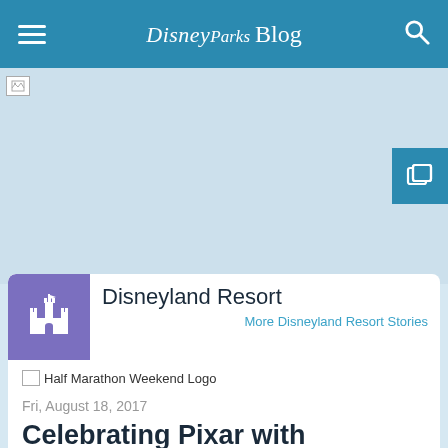Disney Parks Blog
[Figure (photo): Hero banner image placeholder (broken image) with light blue background; overlay button with duplicate icon on right side]
Disneyland Resort
More Disneyland Resort Stories
[Figure (logo): Half Marathon Weekend Logo (broken image)]
Fri, August 18, 2017
Celebrating Pixar with Commemorative Products for the